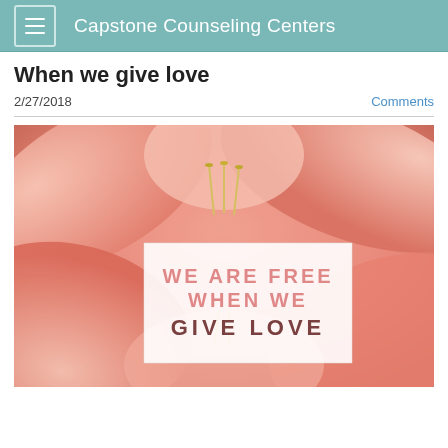Capstone Counseling Centers
When we give love
2/27/2018
Comments
[Figure (photo): Photograph of pink lily flowers with a white overlay box containing the text: WE ARE FREE WHEN WE GIVE LOVE]